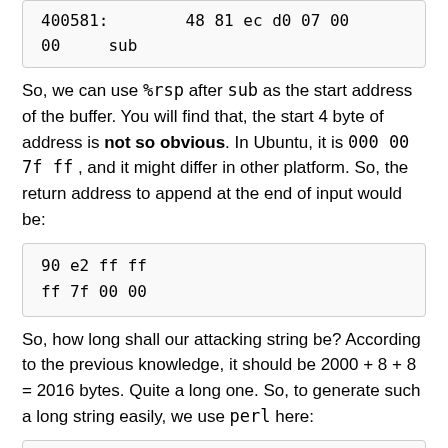400581:    48 81 ec d0 07 00 00    sub
So, we can use %rsp after sub as the start address of the buffer. You will find that, the start 4 byte of address is not so obvious. In Ubuntu, it is 000 00 7f ff , and it might differ in other platform. So, the return address to append at the end of input would be:
90 e2 ff ff
ff 7f 00 00
So, how long shall our attacking string be? According to the previous knowledge, it should be 2000 + 8 + 8 = 2016 bytes. Quite a long one. So, to generate such a long string easily, we use perl here:
perl -e "print 'FF 'x2008" > string
Now, we can append the forged return address to the